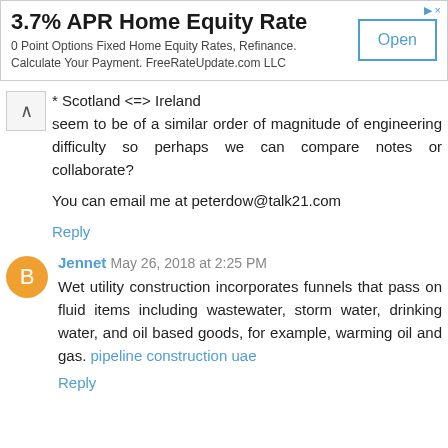[Figure (other): Advertisement banner: '3.7% APR Home Equity Rate' with subtitle '0 Point Options Fixed Home Equity Rates, Refinance. Calculate Your Payment. FreeRateUpdate.com LLC' and an 'Open' button on the right.]
* Scotland <=> Ireland seem to be of a similar order of magnitude of engineering difficulty so perhaps we can compare notes or collaborate?

You can email me at peterdow@talk21.com
Reply
Jennet May 26, 2018 at 2:25 PM
Wet utility construction incorporates funnels that pass on fluid items including wastewater, storm water, drinking water, and oil based goods, for example, warming oil and gas. pipeline construction uae
Reply